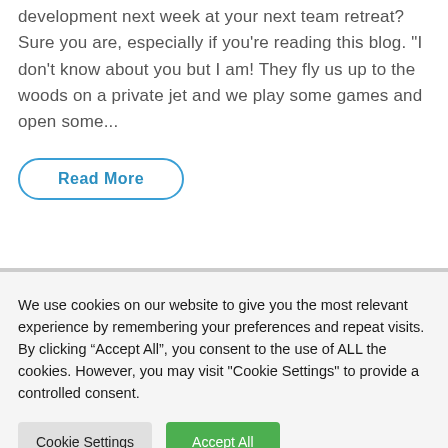development next week at your next team retreat? Sure you are, especially if you're reading this blog. "I don't know about you but I am! They fly us up to the woods on a private jet and we play some games and open some...
Read More
We use cookies on our website to give you the most relevant experience by remembering your preferences and repeat visits. By clicking “Accept All”, you consent to the use of ALL the cookies. However, you may visit "Cookie Settings" to provide a controlled consent.
Cookie Settings
Accept All